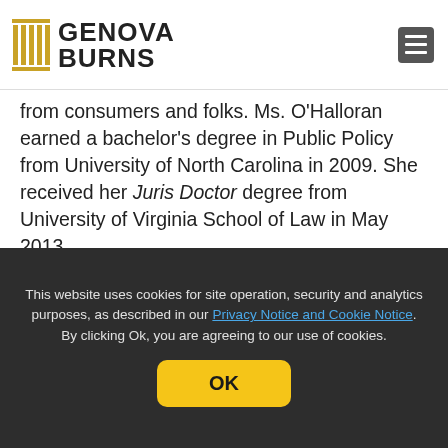Genova Burns
from consumers and folks. Ms. O'Halloran earned a bachelor's degree in Public Policy from University of North Carolina in 2009. She received her Juris Doctor degree from University of Virginia School of Law in May 2013.
• David A. Tango – (Labor Law Practice Group) Mr. Tango is a member of the Labor Law Practice Group. Prior to joining the Firm, Mr. Tango served as a Law Clerk to the Honorable Peter G. Sheridan, U.S.D.J., where he assisted Judge Sheridan in drafting opinions and orders and preparing for
This website uses cookies for site operation, security and analytics purposes, as described in our Privacy Notice and Cookie Notice. By clicking Ok, you are agreeing to our use of cookies.